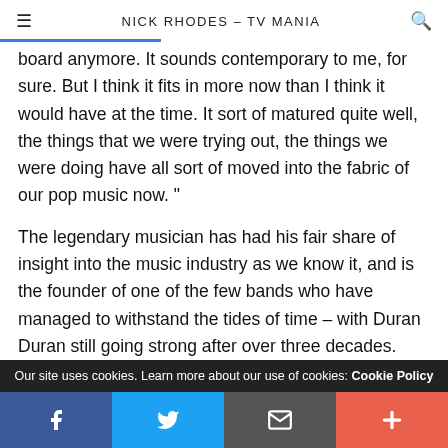NICK RHODES – TV MANIA
board anymore. It sounds contemporary to me, for sure. But I think it fits in more now than I think it would have at the time. It sort of matured quite well, the things that we were trying out, the things we were doing have all sort of moved into the fabric of our pop music now. "
The legendary musician has had his fair share of insight into the music industry as we know it, and is the founder of one of the few bands who have managed to withstand the tides of time – with Duran Duran still going strong after over three decades. Throughout his career, he has dabbled in quite a few
Our site uses cookies. Learn more about our use of cookies: Cookie Policy